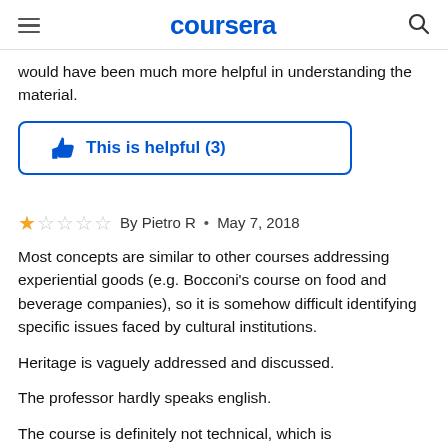coursera
would have been much more helpful in understanding the material.
[Figure (other): Blue outlined button with thumbs up icon and text 'This is helpful (3)']
By Pietro R • May 7, 2018
Most concepts are similar to other courses addressing experiential goods (e.g. Bocconi's course on food and beverage companies), so it is somehow difficult identifying specific issues faced by cultural institutions.

Heritage is vaguely addressed and discussed.

The professor hardly speaks english.

The course is definitely not technical, which is understandable for enlarging the audience but eventually it
does not give me any tool to handle cultural skills f...